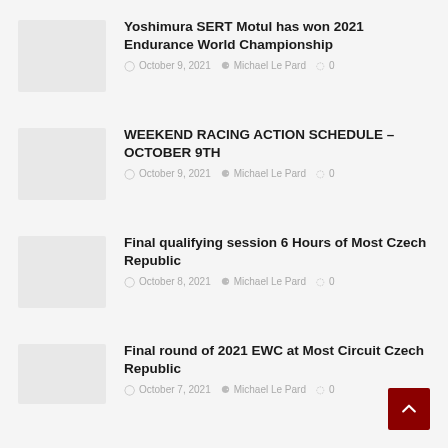Yoshimura SERT Motul has won 2021 Endurance World Championship | October 9, 2021 | Michael Le Pard | 0
WEEKEND RACING ACTION SCHEDULE – OCTOBER 9TH | October 9, 2021 | Michael Le Pard | 0
Final qualifying session 6 Hours of Most Czech Republic | October 8, 2021 | Michael Le Pard | 0
Final round of 2021 EWC at Most Circuit Czech Republic | October 7, 2021 | Michael Le Pard | 0